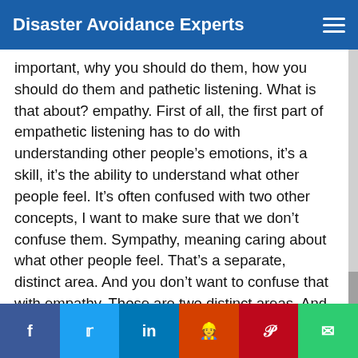Disaster Avoidance Experts
important, why you should do them, how you should do them and pathetic listening. What is that about? empathy. First of all, the first part of empathetic listening has to do with understanding other people's emotions, it's a skill, it's the ability to understand what other people feel. It's often confused with two other concepts, I want to make sure that we don't confuse them. Sympathy, meaning caring about what other people feel. That's a separate, distinct area. And you don't want to confuse that with empathy. Those are two distinct areas. And empathy has to do with
f  t  in  reddit  p  email